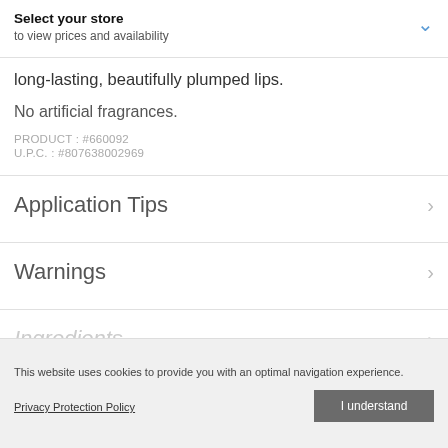Select your store
to view prices and availability
long-lasting, beautifully plumped lips.
No artificial fragrances.
PRODUCT : #660092
U.P.C. : #807638002969
Application Tips
Warnings
Ingredients
This website uses cookies to provide you with an optimal navigation experience.
Privacy Protection Policy
I understand